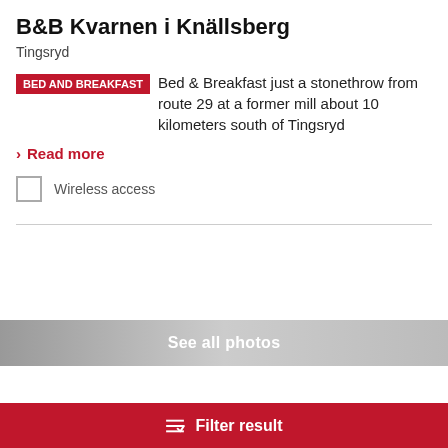B&B Kvarnen i Knällsberg
Tingsryd
BED AND BREAKFAST  Bed & Breakfast just a stonethrow from route 29 at a former mill about 10 kilometers south of Tingsryd
Read more
Wireless access
See all photos
Filter result